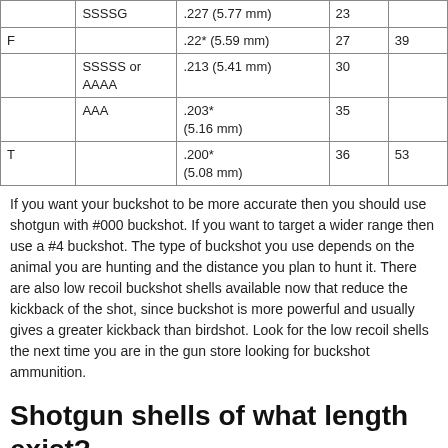|  |  |  |  |  |
| --- | --- | --- | --- | --- |
|  | SSSSG | .227 (5.77 mm) | 23 |  |
| F |  | .22* (5.59 mm) | 27 | 39 |
|  | SSSSS or AAAA | .213 (5.41 mm) | 30 |  |
|  | AAA | .203* (5.16 mm) | 35 |  |
| T |  | .200* (5.08 mm) | 36 | 53 |
If you want your buckshot to be more accurate then you should use shotgun with #000 buckshot. If you want to target a wider range then use a #4 buckshot. The type of buckshot you use depends on the animal you are hunting and the distance you plan to hunt it. There are also low recoil buckshot shells available now that reduce the kickback of the shot, since buckshot is more powerful and usually gives a greater kickback than birdshot. Look for the low recoil shells the next time you are in the gun store looking for buckshot ammunition.
Shotgun shells of what length exist?
Shotgun shells come in all different lengths. The way you